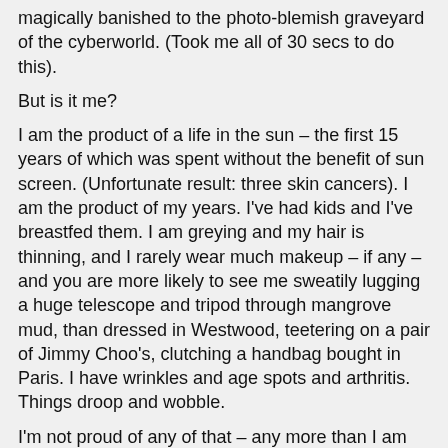magically banished to the photo-blemish graveyard of the cyberworld. (Took me all of 30 secs to do this).
But is it me?
I am the product of a life in the sun – the first 15 years of which was spent without the benefit of sun screen. (Unfortunate result: three skin cancers). I am the product of my years. I've had kids and I've breastfed them. I am greying and my hair is thinning, and I rarely wear much makeup – if any – and you are more likely to see me sweatily lugging a huge telescope and tripod through mangrove mud, than dressed in Westwood, teetering on a pair of Jimmy Choo's, clutching a handbag bought in Paris. I have wrinkles and age spots and arthritis. Things droop and wobble.
I'm not proud of any of that – any more than I am proud of being my age or being short or born blue-eyed. I'm not ashamed of any of it, either. It's just what I am, much of it beyond my control. I really don't have much say in the number of years I have been around…!
If I get a professional to photoshop the real weatherbeaten me into oblivion for publicity purposes, aren't I subscribing